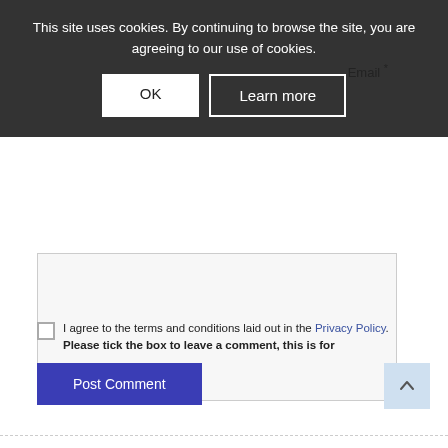Name *
Email *
[Figure (screenshot): Cookie consent banner overlay with dark grey background. Text reads: 'This site uses cookies. By continuing to browse the site, you are agreeing to our use of cookies.' Two buttons: 'OK' (white background) and 'Learn more' (dark background with white border).]
I agree to the terms and conditions laid out in the Privacy Policy. Please tick the box to leave a comment, this is for
Post Comment
[Figure (screenshot): Light blue scroll-to-top button with upward arrow icon]